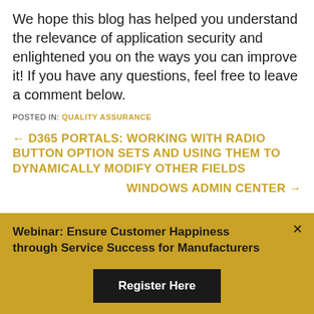We hope this blog has helped you understand the relevance of application security and enlightened you on the ways you can improve it! If you have any questions, feel free to leave a comment below.
POSTED IN: QUALITY ASSURANCE
← D365 PORTALS: WORKING WITH RADIO BUTTON OPTION SETS AND USING THEM TO DYNAMICALLY MODIFY OTHER FIELDS
WINDOWS ADMIN CENTER →
Webinar: Ensure Customer Happiness through Service Success for Manufacturers
Register Here